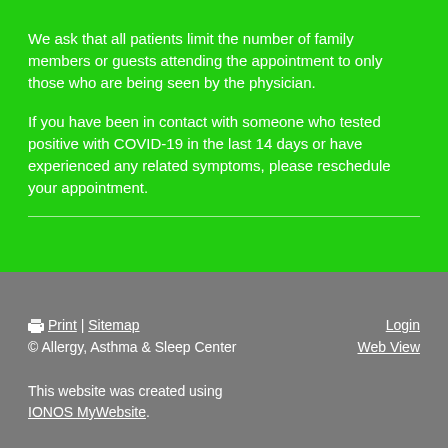We ask that all patients limit the number of family members or guests attending the appointment to only those who are being seen by the physician.
If you have been in contact with someone who tested positive with COVID-19 in the last 14 days or have experienced any related symptoms, please reschedule your appointment.
Print | Sitemap  Login
© Allergy, Asthma & Sleep Center  Web View
This website was created using IONOS MyWebsite.